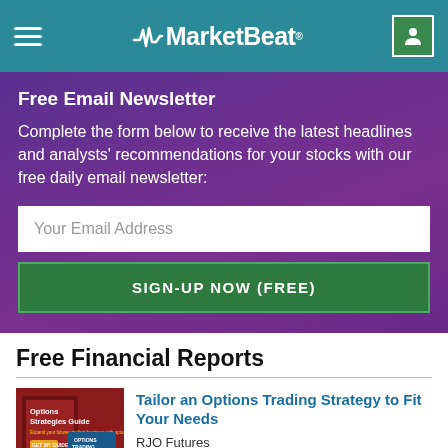MarketBeat
Free Email Newsletter
Complete the form below to receive the latest headlines and analysts' recommendations for your stocks with our free daily email newsletter:
Your Email Address
SIGN-UP NOW (FREE)
Free Financial Reports
[Figure (illustration): Options Strategies Guide book cover — red background with book and text]
Tailor an Options Trading Strategy to Fit Your Needs
RJO Futures
[Figure (photo): Umbrella photo — grey umbrella on grey background]
The Safest Option in Trades!
Tradewise